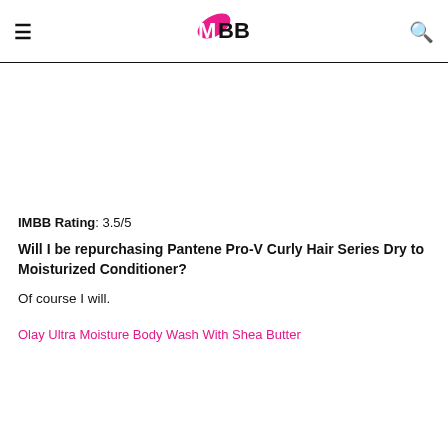IMBB
IMBB Rating: 3.5/5
Will I be repurchasing Pantene Pro-V Curly Hair Series Dry to Moisturized Conditioner?
Of course I will.
Olay Ultra Moisture Body Wash With Shea Butter